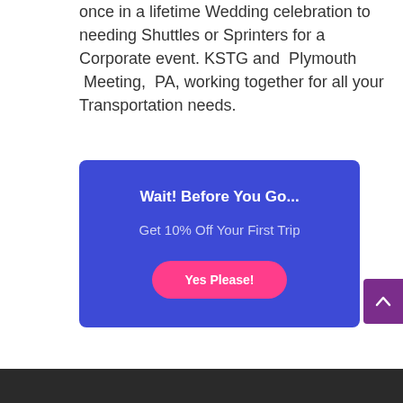once in a lifetime Wedding celebration to needing Shuttles or Sprinters for a Corporate event. KSTG and Plymouth Meeting, PA, working together for all your Transportation needs.
[Figure (infographic): Blue promotional box with white bold heading 'Wait! Before You Go...', subtitle 'Get 10% Off Your First Trip', and a pink rounded button labeled 'Yes Please!']
[Figure (other): Purple scroll-to-top button with an upward caret icon on the right edge of the page]